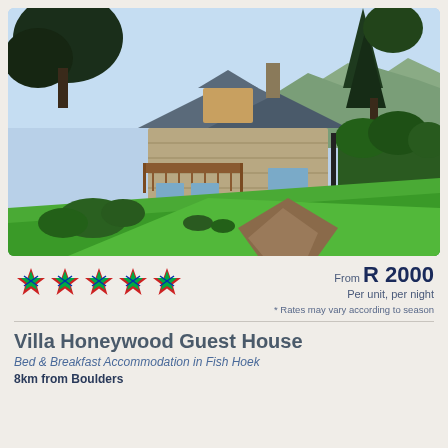[Figure (photo): Exterior photo of Villa Honeywood Guest House showing a stone-built house with a wooden deck/balcony, surrounded by trees including tall pines, green lawn in the foreground, and mountains in the background.]
★★★★★ (5 stars) | From R 2000 | Per unit, per night | * Rates may vary according to season
Villa Honeywood Guest House
Bed & Breakfast Accommodation in Fish Hoek
8km from Boulders